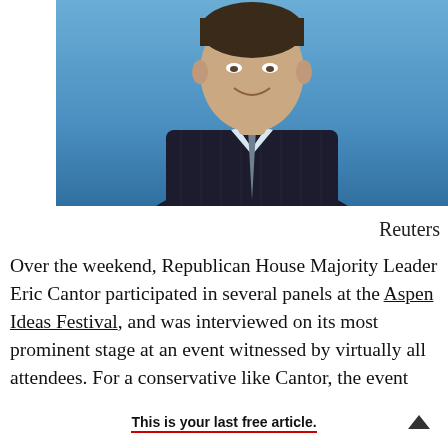[Figure (photo): Photo of a man in a dark pinstripe suit with a light blue tie, smiling, against a blue background. Likely Eric Cantor.]
Reuters
Over the weekend, Republican House Majority Leader Eric Cantor participated in several panels at the Aspen Ideas Festival, and was interviewed on its most prominent stage at an event witnessed by virtually all attendees. For a conservative like Cantor, the event was an opportunity to raise his
This is your last free article.